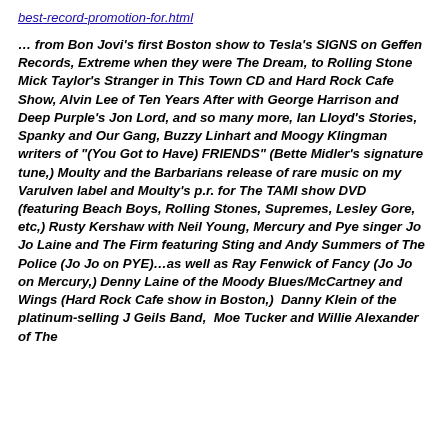best-record-promotion-for.html
… from Bon Jovi's first Boston show to Tesla's SIGNS on Geffen Records, Extreme when they were The Dream, to Rolling Stone Mick Taylor's Stranger in This Town CD and Hard Rock Cafe Show, Alvin Lee of Ten Years After with George Harrison and Deep Purple's Jon Lord, and so many more, Ian Lloyd's Stories, Spanky and Our Gang, Buzzy Linhart and Moogy Klingman writers of "(You Got to Have) FRIENDS" (Bette Midler's signature tune,) Moulty and the Barbarians release of rare music on my Varulven label and Moulty's p.r. for The TAMI show DVD (featuring Beach Boys, Rolling Stones, Supremes, Lesley Gore, etc,) Rusty Kershaw with Neil Young, Mercury and Pye singer Jo Jo Laine and The Firm featuring Sting and Andy Summers of The Police (Jo Jo on PYE)…as well as Ray Fenwick of Fancy (Jo Jo on Mercury,) Denny Laine of the Moody Blues/McCartney and Wings (Hard Rock Cafe show in Boston,)  Danny Klein of the platinum-selling J Geils Band,  Moe Tucker and Willie Alexander of The